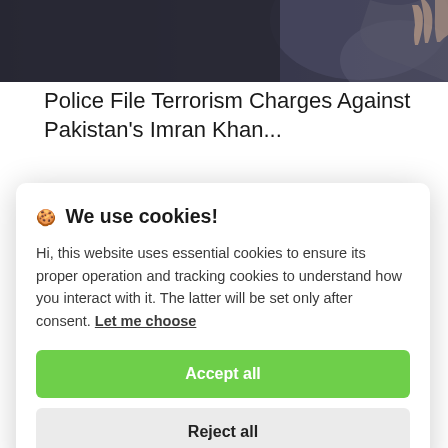[Figure (photo): Partial view of a person in dark clothing against a blurred background]
Police File Terrorism Charges Against Pakistan's Imran Khan...
🍪 We use cookies!

Hi, this website uses essential cookies to ensure its proper operation and tracking cookies to understand how you interact with it. The latter will be set only after consent. Let me choose

[Accept all]
[Reject all]